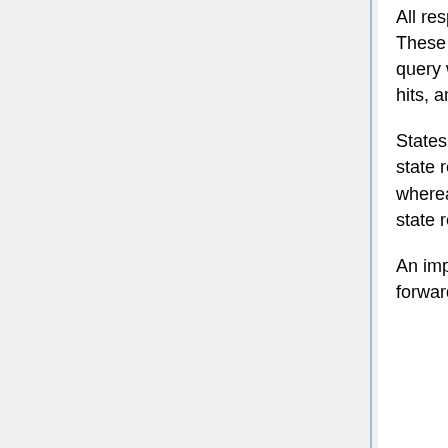All responses, and sends them onto the querying user as a single response. These responses will also contain summary data indicating which states this query was sent to, which states responded with hits, which responded with no hits, and which states did not respond at all.
States receiving legacy text or GJXDM formats will see the summary data and state responses in a flattened text format (wrapped in XML for GJXDM), whereas states receiving responses in NIEM will receive the summary and state responses in a standardized XML structure detailed below.
An important detail to note is that if a response is received after Nlets has forwarded on the merged Multi-State response, the late response will be sent